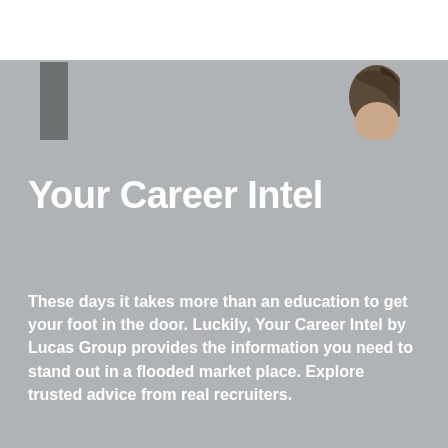[Figure (photo): Partial photo of a person's head with dark hair against a gray background, visible at the top right corner of the page. A dark gray vertical rectangle element is also visible at the top left.]
Your Career Intel
These days it takes more than an education to get your foot in the door. Luckily, Your Career Intel by Lucas Group provides the information you need to stand out in a flooded market place. Explore trusted advice from real recruiters.